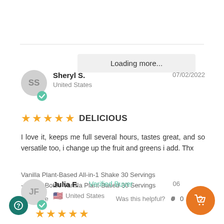Loading more...
Sheryl S.
United States
07/02/2022
DELICIOUS
I love it, keeps me full several hours, tastes great, and so versatile too, i change up the fruit and greens i add. Thx
Vanilla Plant-Based All-in-1 Shake 30 Servings
- Single Bottle Vanilla Plant-Based 30 Servings
Share
Was this helpful? 0 0
Julia F. Verified Buyer
United States